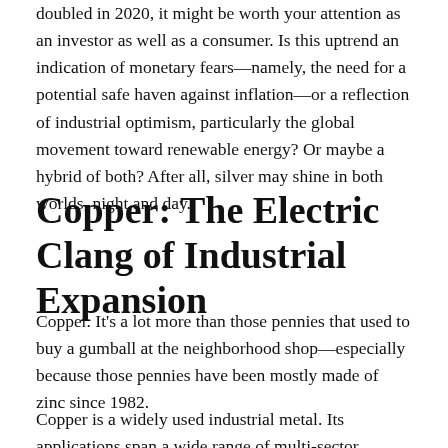doubled in 2020, it might be worth your attention as an investor as well as a consumer. Is this uptrend an indication of monetary fears—namely, the need for a potential safe haven against inflation—or a reflection of industrial optimism, particularly the global movement toward renewable energy? Or maybe a hybrid of both? After all, silver may shine in both worlds, night and day.
Copper: The Electric Clang of Industrial Expansion
Copper. It's a lot more than those pennies that used to buy a gumball at the neighborhood shop—especially because those pennies have been mostly made of zinc since 1982.
Copper is a widely used industrial metal. Its applications span a wide range of multi-sector